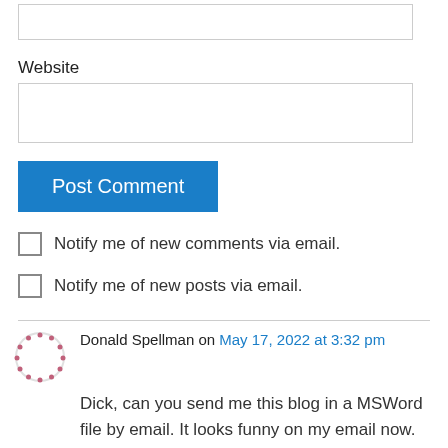Website
Post Comment
Notify me of new comments via email.
Notify me of new posts via email.
Donald Spellman on May 17, 2022 at 3:32 pm
Dick, can you send me this blog in a MSWord file by email. It looks funny on my email now. Thanks, Don Donald J. Spellman Andersonville,